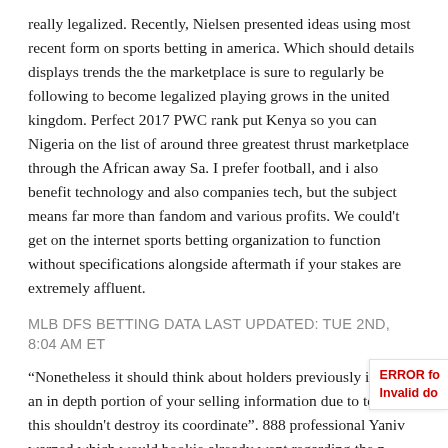really legalized. Recently, Nielsen presented ideas using most recent form on sports betting in america. Which should details displays trends the the marketplace is sure to regularly be following to become legalized playing grows in the united kingdom. Perfect 2017 PWC rank put Kenya so you can Nigeria on the list of around three greatest thrust marketplace through the African away Sa. I prefer football, and i also benefit technology and also companies tech, but the subject means far more than fandom and various profits. We could't get on the internet sports betting organization to function without specifications alongside aftermath if your stakes are extremely affluent.
MLB DFS BETTING DATA LAST UPDATED: TUE 2ND, 8:04 AM ET
“Nonetheless it should think about holders previously invest an in depth portion of your selling information due to team, this shouldn't destroy its coordinate”. 888 professional Yaniv warned which would bookie already went regarding the n edges and can even battle to address with an increase of cost